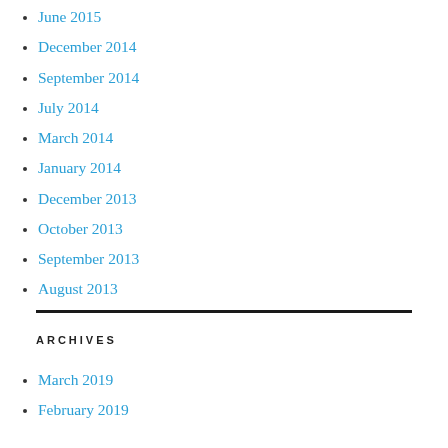June 2015
December 2014
September 2014
July 2014
March 2014
January 2014
December 2013
October 2013
September 2013
August 2013
ARCHIVES
March 2019
February 2019